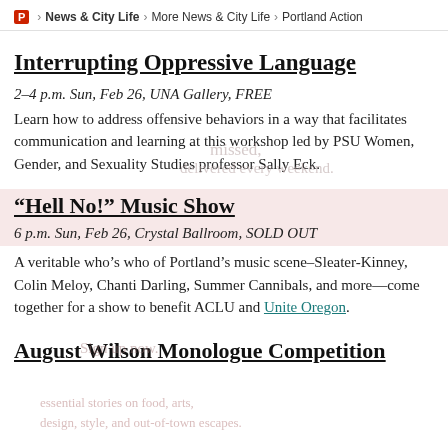P > News & City Life > More News & City Life > Portland Action
Interrupting Oppressive Language
2–4 p.m. Sun, Feb 26, UNA Gallery, FREE
Learn how to address offensive behaviors in a way that facilitates communication and learning at this workshop led by PSU Women, Gender, and Sexuality Studies professor Sally Eck.
“Hell No!” Music Show
6 p.m. Sun, Feb 26, Crystal Ballroom, SOLD OUT
A veritable who’s who of Portland’s music scene–Sleater-Kinney, Colin Meloy, Chanti Darling, Summer Cannibals, and more—come together for a show to benefit ACLU and Unite Oregon.
August Wilson Monologue Competition